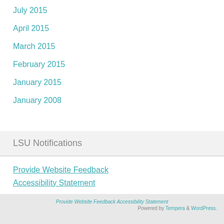July 2015
April 2015
March 2015
February 2015
January 2015
January 2008
LSU Notifications
Provide Website Feedback
Accessibility Statement
Provide Website Feedback Accessibility Statement
Powered by Tempera & WordPress.